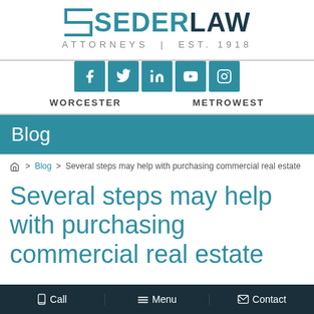[Figure (logo): Seder Law logo with teal S icon, text SEDERLAW in teal and dark blue, ATTORNEYS | Est. 1918 tagline in gray]
[Figure (infographic): Five teal social media icon buttons: Facebook, Twitter, LinkedIn, YouTube, Instagram]
WORCESTER   METROWEST
Blog
Home > Blog > Several steps may help with purchasing commercial real estate
Several steps may help with purchasing commercial real estate
Call   Menu   Contact